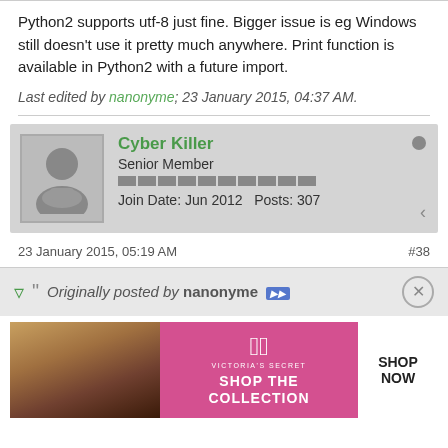Python2 supports utf-8 just fine. Bigger issue is eg Windows still doesn't use it pretty much anywhere. Print function is available in Python2 with a future import.
Last edited by nanonyme; 23 January 2015, 04:37 AM.
Cyber Killer
Senior Member
Join Date: Jun 2012  Posts: 307
23 January 2015, 05:19 AM
#38
Originally posted by nanonyme
[Figure (infographic): Victoria's Secret advertisement banner with model photo, VS logo, 'SHOP THE COLLECTION' text, and 'SHOP NOW' button]